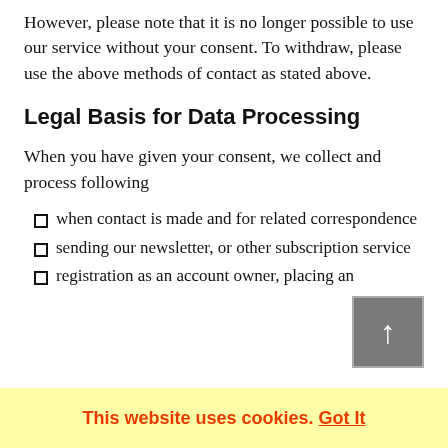However, please note that it is no longer possible to use our service without your consent. To withdraw, please use the above methods of contact as stated above.
Legal Basis for Data Processing
When you have given your consent, we collect and process following
when contact is made and for related correspondence
sending our newsletter, or other subscription service
registration as an account owner, placing an
This website uses cookies. Got It